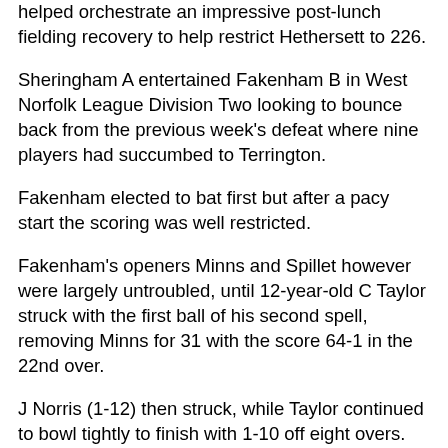helped orchestrate an impressive post-lunch fielding recovery to help restrict Hethersett to 226.
Sheringham A entertained Fakenham B in West Norfolk League Division Two looking to bounce back from the previous week's defeat where nine players had succumbed to Terrington.
Fakenham elected to bat first but after a pacy start the scoring was well restricted.
Fakenham's openers Minns and Spillet however were largely untroubled, until 12-year-old C Taylor struck with the first ball of his second spell, removing Minns for 31 with the score 64-1 in the 22nd over.
J Norris (1-12) then struck, while Taylor continued to bowl tightly to finish with 1-10 off eight overs.
The Sheringham bowlers managed to keep the scoring rate down with Knapp (5-3-4-0) and S Smith the most